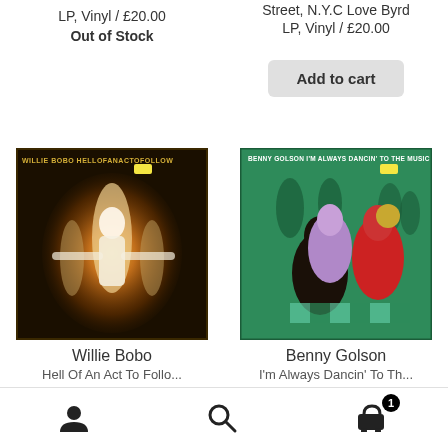LP, Vinyl / £20.00
Out of Stock
Street, N.Y.C Love Byrd
LP, Vinyl / £20.00
Add to cart
[Figure (photo): Album cover: Willie Bobo - Hell Of An Act To Follow. Shows performer in white suit with motion blur effect on dark background.]
[Figure (photo): Album cover: Benny Golson - I'm Always Dancin' To The Music. Colorful illustrated artwork showing dancers in red and purple outfits on green background.]
Willie Bobo
Benny Golson
Hell Of An Act To Follo...
I'm Always Dancin' To Th...
User icon | Search icon | Cart icon (1 item)